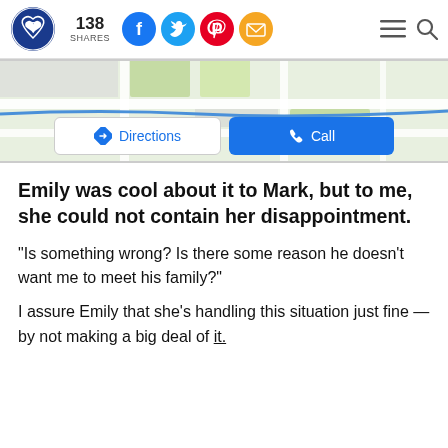138 SHARES [social share icons: Facebook, Twitter, Pinterest, Email] [hamburger menu] [search]
[Figure (screenshot): A partial map view with two buttons: 'Directions' (white button with blue diamond arrow icon) and 'Call' (blue button with white phone icon)]
Emily was cool about it to Mark, but to me, she could not contain her disappointment.
"Is something wrong? Is there some reason he doesn't want me to meet his family?"
I assure Emily that she's handling this situation just fine — by not making a big deal of it.